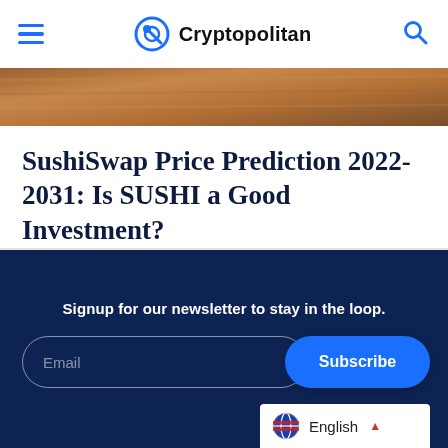Cryptopolitan
[Figure (photo): Wooden surface or brown textured image strip at top of article]
SushiSwap Price Prediction 2022-2031: Is SUSHI a Good Investment?
Signup for our newsletter to stay in the loop.
Email
Subscribe
English